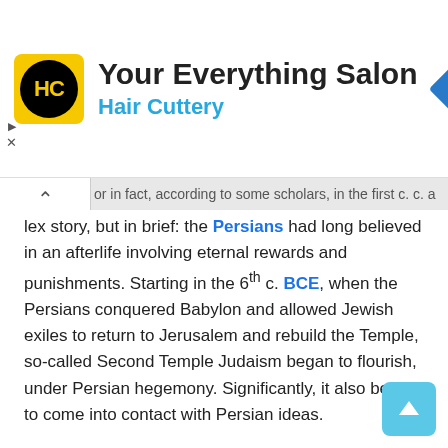[Figure (other): Hair Cuttery advertisement banner with logo, salon name 'Your Everything Salon', brand name 'Hair Cuttery', and navigation icon]
...lex story, but in brief: the Persians had long believed in an afterlife involving eternal rewards and punishments. Starting in the 6th c. BCE, when the Persians conquered Babylon and allowed Jewish exiles to return to Jerusalem and rebuild the Temple, so-called Second Temple Judaism began to flourish, under Persian hegemony. Significantly, it also began to come into contact with Persian ideas.
But it was not until after the Persians were in turn conquered by Alexander the Great, a couple of centuries later (4th c. BCE) that this notion of eternal rewards or punishments in an afterlife became widespread in Jewish thought. And this is no accident. The Hellenistic dynasty established by Alexander's Seleucid successors in Syria-Palestine had, by the 2nd c. BCE, become extremely oppressive. One can read in the Books of the Maccabees (e.g., 2 Macc. 6:18–17:42)